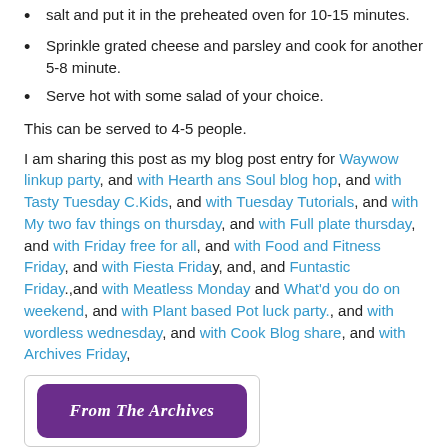salt and put it in the preheated oven for 10-15 minutes.
Sprinkle grated cheese and parsley and cook for another 5-8 minute.
Serve hot with some salad of your choice.
This can be served to 4-5 people.
I am sharing this post as my blog post entry for Waywow linkup party, and with Hearth ans Soul blog hop, and with Tasty Tuesday C.Kids, and with Tuesday Tutorials, and with My two fav things on thursday, and with Full plate thursday, and with Friday free for all, and with Food and Fitness Friday, and with Fiesta Friday, and, and Funtastic Friday.,and with Meatless Monday and What'd you do on weekend, and with Plant based Pot luck party., and with wordless wednesday, and with Cook Blog share, and with Archives Friday,
[Figure (illustration): Purple rounded rectangle badge with white italic text reading 'From The Archives']